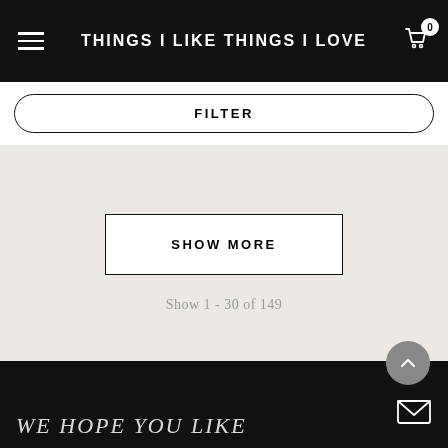THINGS I LIKE THINGS I LOVE
FILTER
SHOW MORE
Show 1 - 30 of 149
WE HOPE YOU LIKE